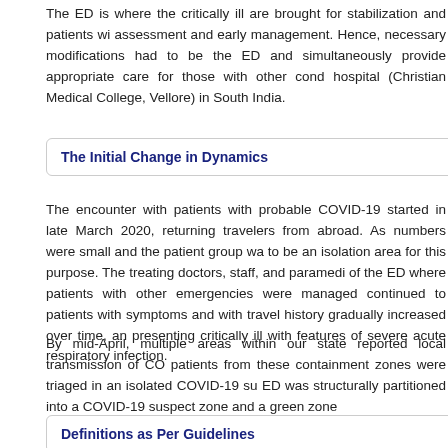The ED is where the critically ill are brought for stabilization and patients with assessment and early management. Hence, necessary modifications had to be the ED and simultaneously provide appropriate care for those with other cond hospital (Christian Medical College, Vellore) in South India.
The Initial Change in Dynamics
The encounter with patients with probable COVID-19 started in late March 2020, returning travelers from abroad. As numbers were small and the patient group wa to be an isolation area for this purpose. The treating doctors, staff, and paramedi of the ED where patients with other emergencies were managed continued to patients with symptoms and with travel history gradually increased over time, an presenting critically ill with features of severe acute respiratory infection.
By mid-April, multiple areas within our state reported local transmission of CO patients from these containment zones were triaged in an isolated COVID-19 su ED was structurally partitioned into a COVID-19 suspect zone and a green zone
Definitions as Per Guidelines